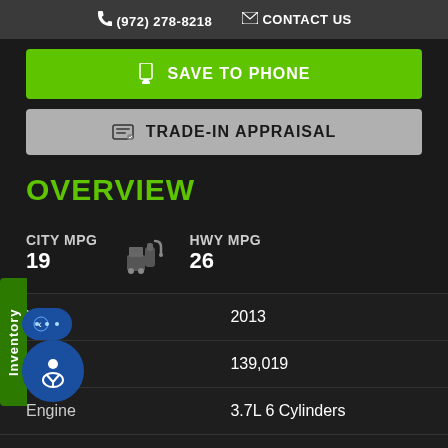(972) 278-8218   CONTACT US
SAVE TO PHONE
TRADE-IN APPRAISAL
OVERVIEW
CITY MPG 19   HWY MPG 26
|  |  |
| --- | --- |
| Year | 2013 |
| Miles | 139,019 |
| Engine | 3.7L 6 Cylinders |
| Transmission | Automatic |